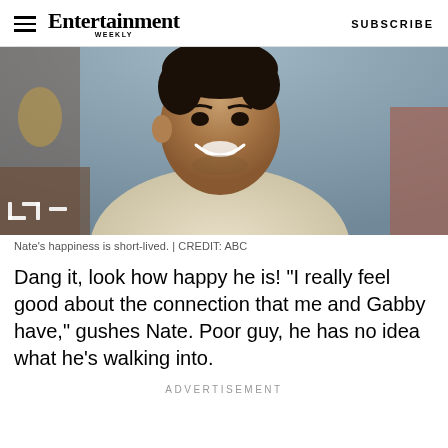Entertainment Weekly | SUBSCRIBE
[Figure (photo): A young man smiling, wearing a cream/beige long-sleeve shirt, photographed indoors with a blue/grey wall in the background. Expand icon in bottom left corner.]
Nate's happiness is short-lived. | CREDIT: ABC
Dang it, look how happy he is! "I really feel good about the connection that me and Gabby have," gushes Nate. Poor guy, he has no idea what he's walking into.
ADVERTISEMENT